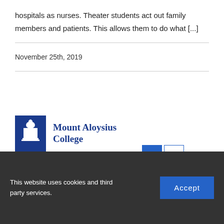hospitals as nurses. Theater students act out family members and patients. This allows them to do what [...]
November 25th, 2019
1  2  Next >
[Figure (logo): Mount Aloysius College logo with white chapel/building icon on blue square background and bold blue serif text]
This website uses cookies and third party services.
7373 Admiral Peary Highway
814-886-6383; 888-823-2220; 814-886-6441 (Fax) | 814-886-2461; 1-800-630-1999